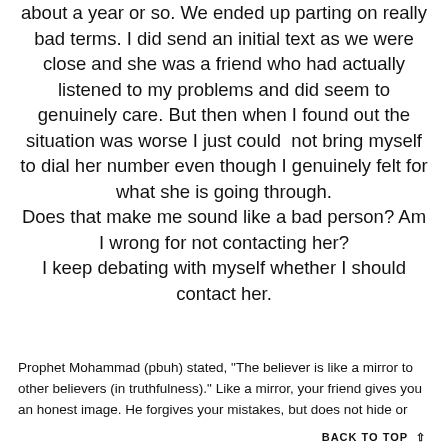about a year or so. We ended up parting on really bad terms. I did send an initial text as we were close and she was a friend who had actually listened to my problems and did seem to genuinely care. But then when I found out the situation was worse I just could  not bring myself to dial her number even though I genuinely felt for what she is going through.
Does that make me sound like a bad person? Am I wrong for not contacting her?
I keep debating with myself whether I should contact her.
Prophet Mohammad (pbuh) stated, "The believer is like a mirror to other believers (in truthfulness)." Like a mirror, your friend gives you an honest image. He forgives your mistakes, but does not hide or
BACK TO TOP ↑